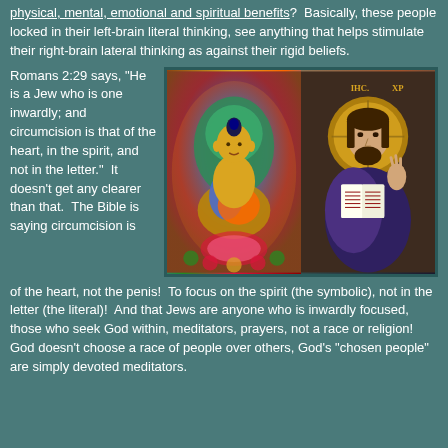physical, mental, emotional and spiritual benefits?  Basically, these people locked in their left-brain literal thinking, see anything that helps stimulate their right-brain lateral thinking as against their rigid beliefs.
Romans 2:29 says, "He is a Jew who is one inwardly; and circumcision is that of the heart, in the spirit, and not in the letter."  It doesn't get any clearer than that.  The Bible is saying circumcision is of the heart, not the penis!  To focus on the spirit (the symbolic), not in the letter (the literal)!  And that Jews are anyone who is inwardly focused, those who seek God within, meditators, prayers, not a race or religion!  God doesn't choose a race of people over others, God's "chosen people" are simply devoted meditators.
[Figure (photo): Side-by-side religious images: left shows a colorful Tibetan Buddhist thangka painting of a golden Buddha seated in meditation with ornate multicolored background; right shows a Byzantine-style icon of Jesus Christ with a halo, raising his right hand in blessing and holding an open book in his left hand.]